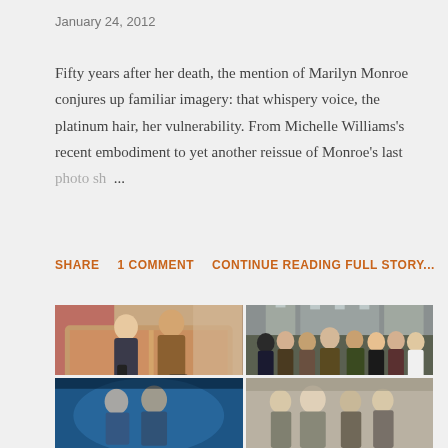January 24, 2012
Fifty years after her death, the mention of Marilyn Monroe conjures up familiar imagery: that whispery voice, the platinum hair, her vulnerability. From Michelle Williams's recent embodiment to yet another reissue of Monroe's last photo sh ...
SHARE   1 COMMENT   CONTINUE READING FULL STORY...
[Figure (photo): Two people sitting on a floral sofa in a living room, appears to be a TV show promotional photo]
[Figure (photo): Large group of people in period costume standing in front of a grand building, appears to be Downton Abbey cast photo]
[Figure (photo): Two men in what appears to be a sci-fi or action setting with blue tones]
[Figure (photo): Group of people in historical/period clothing in black and white or muted tones]